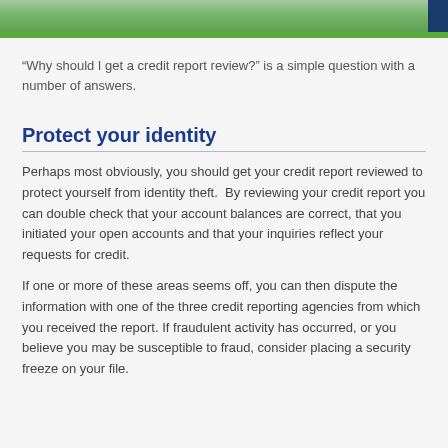[Figure (photo): Banner image showing outdoor scene with green grass and sky, with a dark blue block on the right side, and a green bar beneath]
“Why should I get a credit report review?” is a simple question with a number of answers.
Protect your identity
Perhaps most obviously, you should get your credit report reviewed to protect yourself from identity theft.  By reviewing your credit report you can double check that your account balances are correct, that you initiated your open accounts and that your inquiries reflect your requests for credit.
If one or more of these areas seems off, you can then dispute the information with one of the three credit reporting agencies from which you received the report. If fraudulent activity has occurred, or you believe you may be susceptible to fraud, consider placing a security freeze on your file.